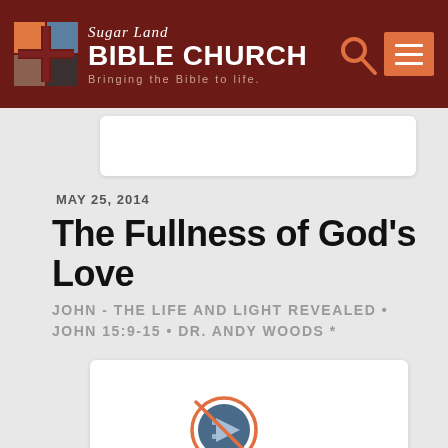[Figure (logo): Sugar Land Bible Church logo with colored cross icon, church name, and tagline 'Bringing the Bible to life.']
MAY 25, 2014
The Fullness of God's Love
JOHN - THE LIFE AND LIGHT REVEALED • JOHN 15:9-15 • DR. ANDY WOODS *
[Figure (screenshot): Video player showing 'Processing video...' with a circular loading icon]